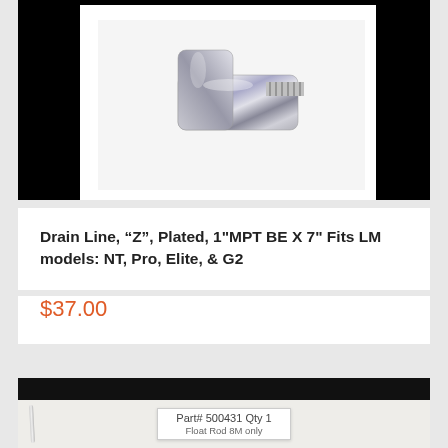[Figure (photo): Chrome plated Z-shaped drain line fitting, elbow/angle connector with threaded end, photographed on white background with black borders on left and right sides]
Drain Line, “Z”, Plated, 1"MPT BE X 7" Fits LM models: NT, Pro, Elite, & G2
$37.00
[Figure (photo): Packaged part in clear plastic bag with label reading: Part# 500431 Qty 1, Float Rod 8M only]